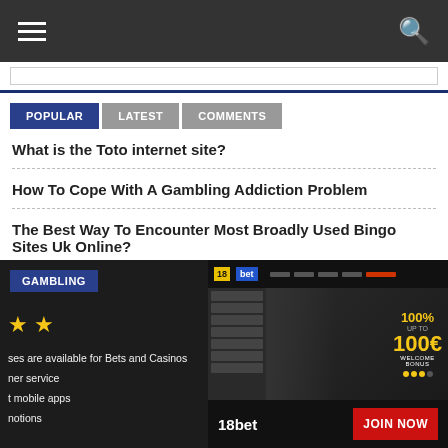Navigation bar with hamburger menu and search icon
POPULAR | LATEST | COMMENTS
What is the Toto internet site?
How To Cope With A Gambling Addiction Problem
The Best Way To Encounter Most Broadly Used Bingo Sites Uk Online?
Ways to get in case your Blackjack Casino is Trustworty
[Figure (screenshot): Screenshot of gambling website section featuring 18bet casino with GAMBLING tag, star ratings, bullet points about bonuses, and a promotional 100% up to 100€ welcome bonus with JOIN NOW button]